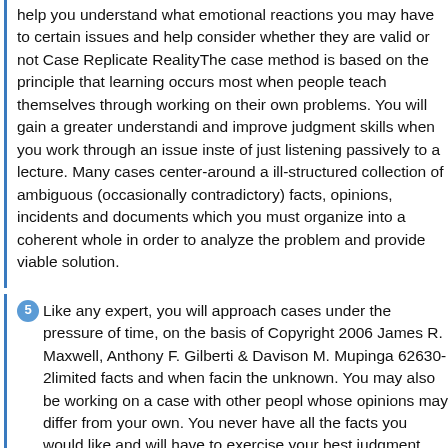help you understand what emotional reactions you may have to certain issues and help consider whether they are valid or not Case Replicate RealityThe case method is based on the principle that learning occurs most when people teach themselves through working on their own problems. You will gain a greater understanding and improve judgment skills when you work through an issue instead of just listening passively to a lecture. Many cases center-around an ill-structured collection of ambiguous (occasionally contradictory) facts, opinions, incidents and documents which you must organize into a coherent whole in order to analyze the problem and provide viable solution.
5 Like any expert, you will approach cases under the pressure of time, on the basis of Copyright 2006 James R. Maxwell, Anthony F. Gilberti & Davison M. Mupinga 62630-2limited facts and when facing the unknown. You may also be working on a case with other people whose opinions may differ from your own. You never have all the facts you would like and will have to exercise your best judgment which can be improved by discussion and consultation with others. Experiencing this process can be frustrating and confusing, but it is also practical and Elements Cases come in many shapes and sizes from a simple "What would you do in this situation and so what?" ...